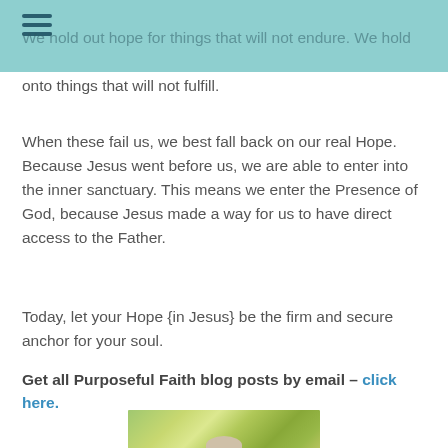We hold out hope for things that will not endure. We hold onto things that will not fulfill.
When these fail us, we best fall back on our real Hope. Because Jesus went before us, we are able to enter into the inner sanctuary. This means we enter the Presence of God, because Jesus made a way for us to have direct access to the Father.
Today, let your Hope {in Jesus} be the firm and secure anchor for your soul.
Get all Purposeful Faith blog posts by email – click here.
[Figure (photo): A blurred bokeh photo of green foliage with a person partially visible at the bottom]